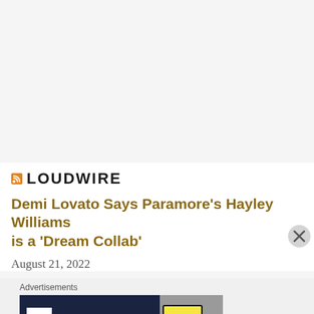[Figure (logo): Loudwire logo with RSS feed icon and bold uppercase LOUDWIRE text]
Demi Lovato Says Paramore's Hayley Williams is a 'Dream Collab'
August 21, 2022
Advertisements
[Figure (screenshot): WordPress Hosting That Means Business advertisement banner with parking P icon and OPEN sign photo on right]